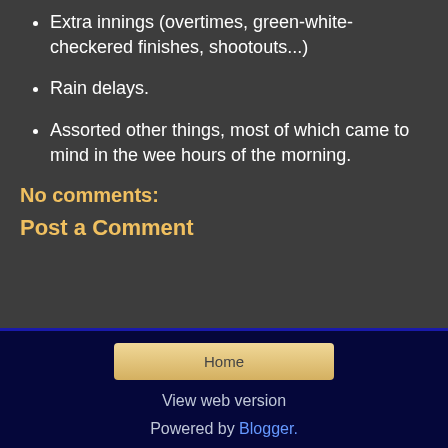Extra innings (overtimes, green-white-checkered finishes, shootouts...)
Rain delays.
Assorted other things, most of which came to mind in the wee hours of the morning.
No comments:
Post a Comment
Home | View web version | Powered by Blogger.